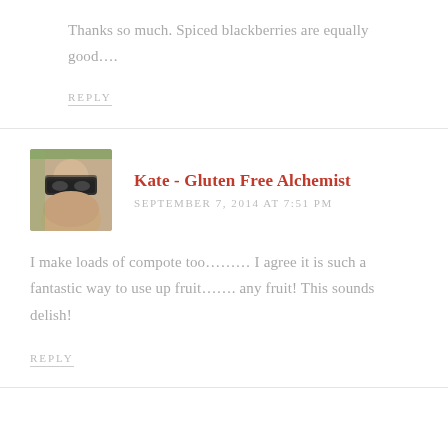Thanks so much. Spiced blackberries are equally good....
REPLY
Kate - Gluten Free Alchemist
SEPTEMBER 7, 2014 AT 7:51 PM
I make loads of compote too........ I agree it is such a fantastic way to use up fruit....... any fruit! This sounds delish!
REPLY